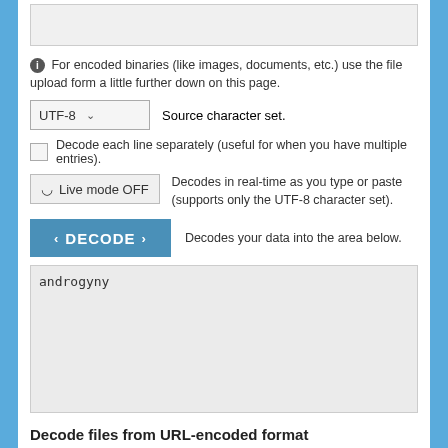[Figure (screenshot): Top textarea input box (partially visible, gray background)]
For encoded binaries (like images, documents, etc.) use the file upload form a little further down on this page.
UTF-8  Source character set.
Decode each line separately (useful for when you have multiple entries).
Live mode OFF  Decodes in real-time as you type or paste (supports only the UTF-8 character set).
DECODE  Decodes your data into the area below.
[Figure (screenshot): Output textarea containing the decoded text 'androgyny']
Decode files from URL-encoded format